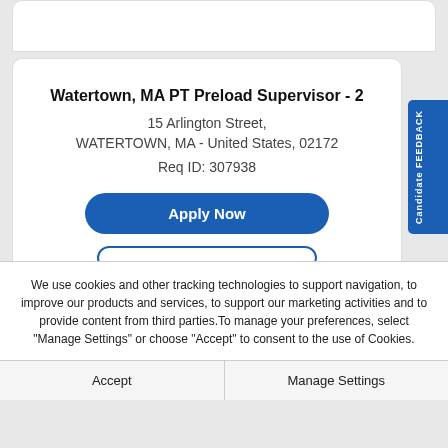Watertown, MA PT Preload Supervisor - 2
15 Arlington Street,
WATERTOWN, MA - United States, 02172
Req ID: 307938
Apply Now
Candidate FEEDBACK
We use cookies and other tracking technologies to support navigation, to improve our products and services, to support our marketing activities and to provide content from third parties.To manage your preferences, select "Manage Settings" or choose "Accept" to consent to the use of Cookies.
Accept
Manage Settings